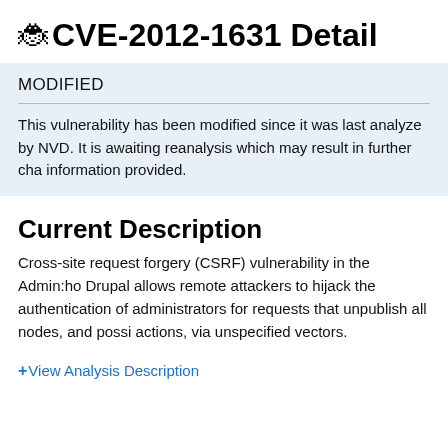CVE-2012-1631 Detail
MODIFIED
This vulnerability has been modified since it was last analyzed by NVD. It is awaiting reanalysis which may result in further changes to the information provided.
Current Description
Cross-site request forgery (CSRF) vulnerability in the Admin:hover module for Drupal allows remote attackers to hijack the authentication of administrators for requests that unpublish all nodes, and possibly other actions, via unspecified vectors.
+View Analysis Description